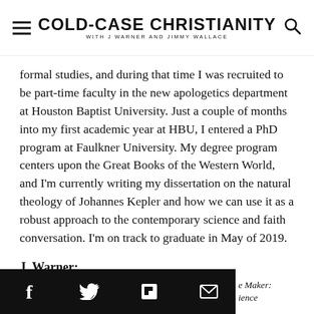COLD-CASE CHRISTIANITY WITH J WARNER AND JIMMY WALLACE
formal studies, and during that time I was recruited to be part-time faculty in the new apologetics department at Houston Baptist University. Just a couple of months into my first academic year at HBU, I entered a PhD program at Faulkner University. My degree program centers upon the Great Books of the Western World, and I'm currently writing my dissertation on the natural theology of Johannes Kepler and how we can use it as a robust approach to the contemporary science and faith conversation. I'm on track to graduate in May of 2019.
J. Warner:
e Maker: ience